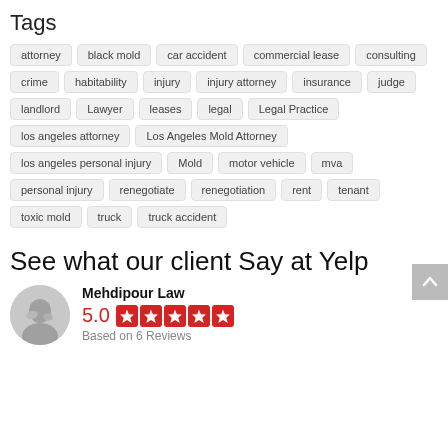Tags
attorney
black mold
car accident
commercial lease
consulting
crime
habitability
injury
injury attorney
insurance
judge
landlord
Lawyer
leases
legal
Legal Practice
los angeles attorney
Los Angeles Mold Attorney
los angeles personal injury
Mold
motor vehicle
mva
personal injury
renegotiate
renegotiation
rent
tenant
toxic mold
truck
truck accident
See what our client Say at Yelp
Mehdipour Law
5.0
Based on 6 Reviews